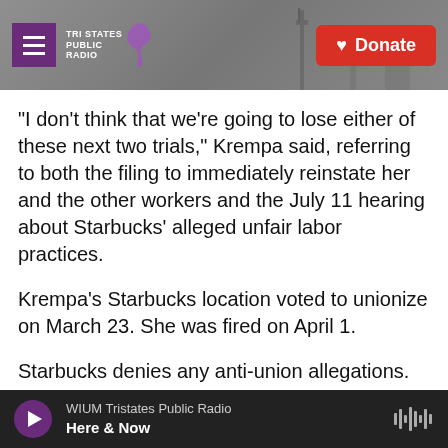Tri States Public Radio | Donate
"I don't think that we're going to lose either of these next two trials," Krempa said, referring to both the filing to immediately reinstate her and the other workers and the July 11 hearing about Starbucks' alleged unfair labor practices.
Krempa's Starbucks location voted to unionize on March 23. She was fired on April 1.
Starbucks denies any anti-union allegations. "As we have said previously, we believe these claims are false and will be prepared to defend our case," Reggie Borges, a Starbucks spokesperson, said in
WIUM Tristates Public Radio | Here & Now